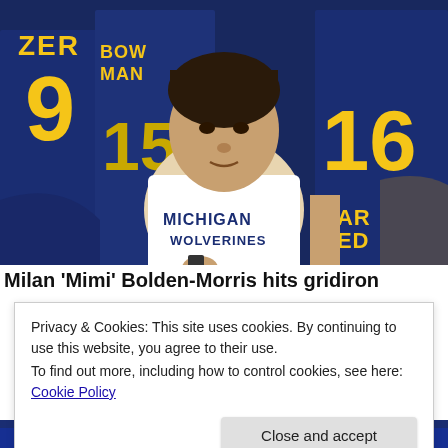[Figure (photo): Photo of Milan 'Mimi' Bolden-Morris standing among Michigan Wolverines football players in navy and yellow jerseys (numbers 9, 15, 16 visible, names ZER, BOWMAN, HARRED visible). She is wearing a white Michigan Wolverines t-shirt and holding something in her hand, looking at the camera with a serious expression.]
Milan 'Mimi' Bolden-Morris hits gridiron
Privacy & Cookies: This site uses cookies. By continuing to use this website, you agree to their use.
To find out more, including how to control cookies, see here: Cookie Policy
[Figure (photo): Partial view of a crowd at a sports stadium, bottom strip.]